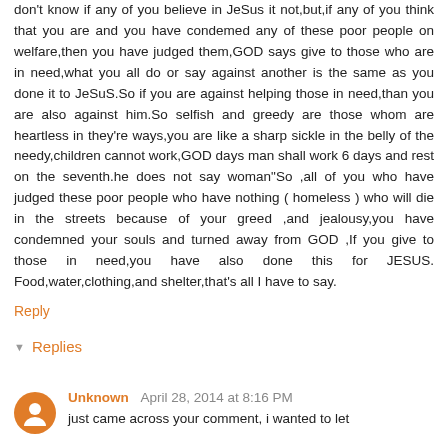don't know if any of you believe in JeSus it not,but,if any of you think that you are and you have condemed any of these poor people on welfare,then you have judged them,GOD says give to those who are in need,what you all do or say against another is the same as you done it to JeSuS.So if you are against helping those in need,than you are also against him.So selfish and greedy are those whom are heartless in they're ways,you are like a sharp sickle in the belly of the needy,children cannot work,GOD days man shall work 6 days and rest on the seventh.he does not say woman"So ,all of you who have judged these poor people who have nothing ( homeless ) who will die in the streets because of your greed ,and jealousy,you have condemned your souls and turned away from GOD ,If you give to those in need,you have also done this for JESUS. Food,water,clothing,and shelter,that's all I have to say.
Reply
Replies
Unknown April 28, 2014 at 8:16 PM
just came across your comment, i wanted to let